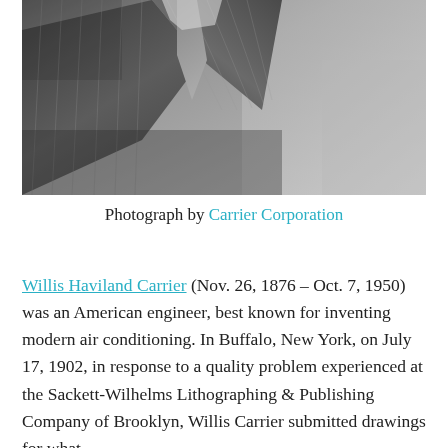[Figure (photo): Black and white close-up photograph of a man in a pinstripe suit and tie]
Photograph by Carrier Corporation
Willis Haviland Carrier (Nov. 26, 1876 – Oct. 7, 1950) was an American engineer, best known for inventing modern air conditioning. In Buffalo, New York, on July 17, 1902, in response to a quality problem experienced at the Sackett-Wilhelms Lithographing & Publishing Company of Brooklyn, Willis Carrier submitted drawings for what